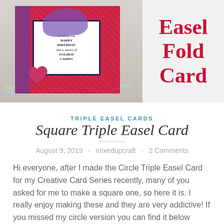[Figure (photo): Photo of a colorful easel fold card featuring a butterfly, red patterned paper, and a heart, displayed upright with the text 'Easel Fold Card' on the right side in bold red italic font on a light background]
TRIPLE EASEL CARDS
Square Triple Easel Card
August 9, 2019 · mixedupcraft · 2 Comments
Hi everyone, after I made the Circle Triple Easel Card for my Creative Card Series recently, many of you asked for me to make a square one, so here it is. I really enjoy making these and they are very addictive! If you missed my circle version you can find it below along with my......